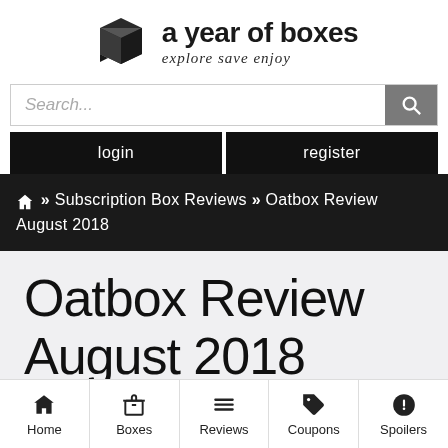[Figure (logo): A Year of Boxes logo with box icon and tagline 'explore save enjoy']
Search...
login
register
🏠 » Subscription Box Reviews » Oatbox Review August 2018
Oatbox Review August 2018
Home | Boxes | Reviews | Coupons | Spoilers